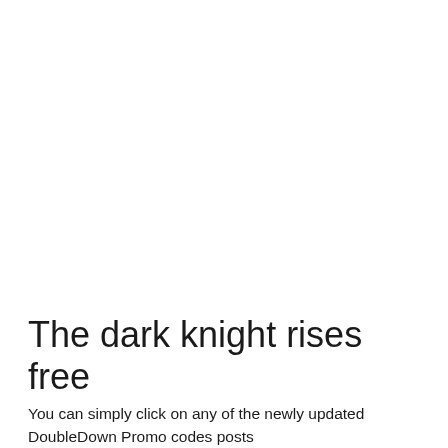The dark knight rises free
You can simply click on any of the newly updated DoubleDown Promo codes posts